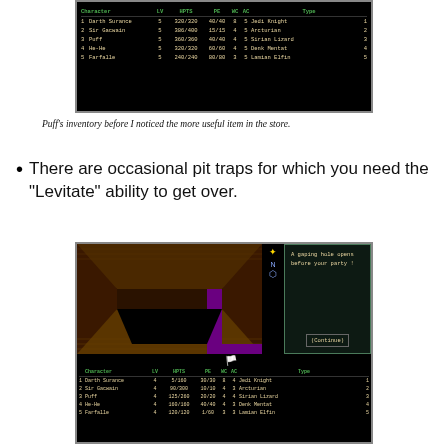[Figure (screenshot): RPG game screenshot showing a party stats screen with characters: 1 Darth Surance LV5 320/320 HP 40/40 PE WC8 AC5 Jedi Knight, 2 Sir Gacwain LV5 386/400 15/15 4 5 Arcturian, 3 Puff LV5 360/360 40/40 4 5 Sirian Lizard, 4 He-He LV5 320/320 60/60 4 5 Denk Mentat, 5 Farfalle LV5 240/240 80/80 3 5 Lamian Elfin]
Puff's inventory before I noticed the more useful item in the store.
There are occasional pit traps for which you need the "Levitate" ability to get over.
[Figure (screenshot): RPG game screenshot showing dungeon 3D view with a pit trap, compass, message reading 'A gaping hole opens before your party !' with (Continue) button, and party stats: 1 Darth Surance LV4 5/160 30/30 WC8 AC4 Jedi Knight, 2 Sir Gacwain LV4 90/300 10/10 4 3 Arcturian, 3 Puff LV4 125/260 20/20 4 4 Sirian Lizard, 4 He-He LV4 160/160 40/40 4 3 Denk Mentat, 5 Farfalle LV4 120/120 1/60 3 3 Lamian Elfin]